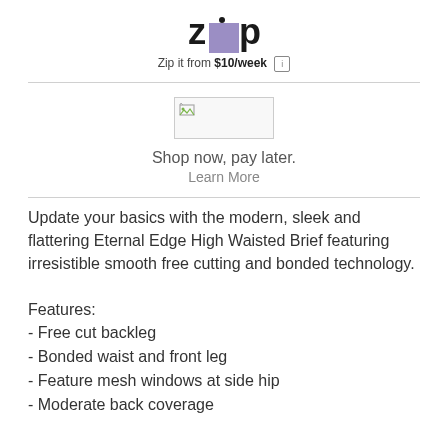[Figure (logo): Zip logo with purple square replacing the 'i', with tagline 'Zip it from $10/week' and info icon]
[Figure (other): Broken image placeholder for payment provider graphic]
Shop now, pay later.
Learn More
Update your basics with the modern, sleek and flattering Eternal Edge High Waisted Brief featuring irresistible smooth free cutting and bonded technology.
Features:
- Free cut backleg
- Bonded waist and front leg
- Feature mesh windows at side hip
- Moderate back coverage